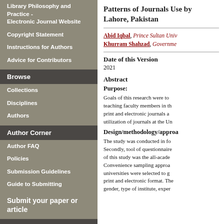Library Philosophy and Practice - Electronic Journal Website
Copyright Statement
Instructions for Authors
Advice for Contributors
Browse
Collections
Disciplines
Authors
Author Corner
Author FAQ
Policies
Submission Guidelines
Guide to Submitting
Submit your paper or article
Links
Patterns of Journals Use by Teaching Faculty Members in Lahore, Pakistan
Abid Iqbal, Prince Sultan Univ... Khurram Shahzad, Governme...
Date of this Version
2021
Abstract
Purpose:
Goals of this research were to... teaching faculty members in th... print and electronic journals a... utilization of journals at the Un...
Design/methodology/approa...
The study was conducted in fo... Secondly, tool of questionnaire... of this study was the all-acade... Convenience sampling approa... universities were selected to g... print and electronic format. The... gender, type of institute, exper...